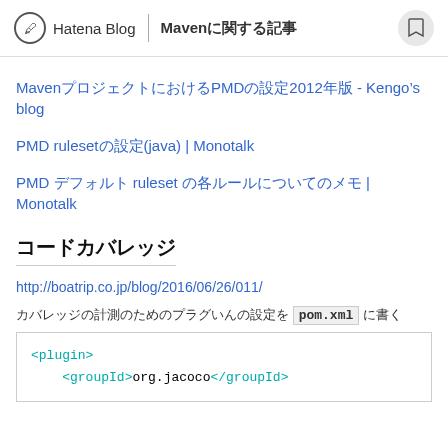Hatena Blog | Maven記事
Mavenプロジェクトにおけるコードチェックツール(PMD)設定方法2012年版まとめ - Kengo's blog
PMD rulesetの設定(java) | Monotalk
PMD デフォルト ruleset の各ルールについてのメモ | Monotalk
コードカバレッジ
http://boatrip.co.jp/blog/2016/06/26/011/
カバレッジの計測のためのプラグいんの設定を pom.xml に書く
<plugin>
    <groupId>org.jacoco</groupId>